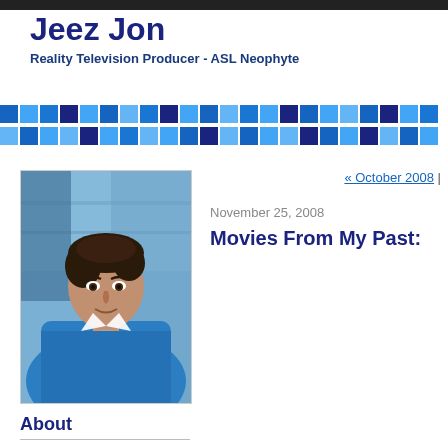Jeez Jon
Reality Television Producer - ASL Neophyte
[Figure (illustration): Decorative mosaic bar with blue squares of varying shades (light blue, medium blue, dark navy) arranged in two rows]
[Figure (photo): Portrait photo of a man wearing a blue shirt and grey tie, seated, looking at camera with a slight smile. Background appears to be a blurred interior.]
About
« October 2008 |
November 25, 2008
Movies From My Past: